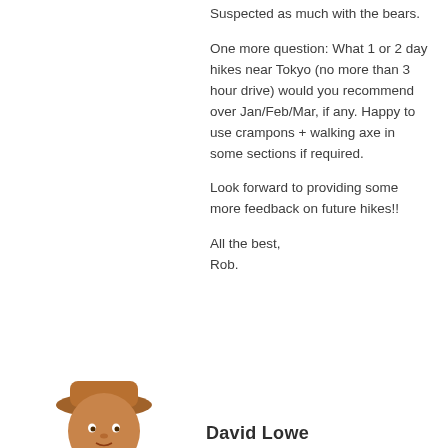Suspected as much with the bears.
One more question: What 1 or 2 day hikes near Tokyo (no more than 3 hour drive) would you recommend over Jan/Feb/Mar, if any. Happy to use crampons + walking axe in some sections if required.
Look forward to providing some more feedback on future hikes!!
All the best,
Rob.
[Figure (photo): Circular avatar photo of David Lowe, wearing a hat]
David Lowe